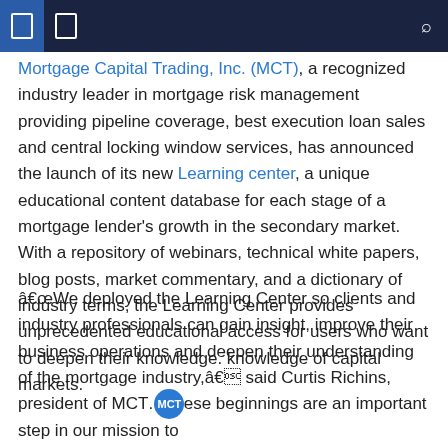[Navigation bar with icons and search]
Mortgage Capital Trading, Inc. (MCT), a recognized industry leader in mortgage risk management providing pipeline coverage, best execution loan sales and central locking window services, has announced the launch of its new Learning center, a unique educational content database for each stage of a mortgage lender's growth in the secondary market. With a repository of webinars, technical white papers, blog posts, market commentary, and a dictionary of industry terms, the Learning Center provides unprecedented educational access for users who want to deepen their knowledge. knowledge of capital markets.
â€œWe deployed the Learning Center so clients and industry professionals can gain insight, improve their business operations and deepen their understanding of the mortgage industry,â€ said Curtis Richins, president of MCT. "These beginnings are an important step in our mission to